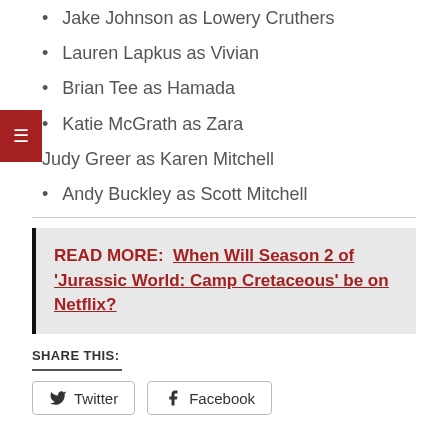Jake Johnson as Lowery Cruthers
Lauren Lapkus as Vivian
Brian Tee as Hamada
Katie McGrath as Zara
Judy Greer as Karen Mitchell
Andy Buckley as Scott Mitchell
READ MORE:  When Will Season 2 of 'Jurassic World: Camp Cretaceous' be on Netflix?
SHARE THIS:
Twitter  Facebook